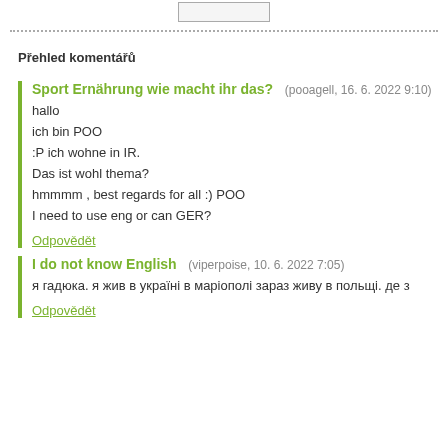Přehled komentářů
Sport Ernährung wie macht ihr das? (pooagell, 16. 6. 2022 9:10)
hallo

ich bin POO

:P ich wohne in IR.

Das ist wohl thema?

hmmmm , best regards for all :) POO

I need to use eng or can GER?

Odpovědět
I do not know English (viperpoise, 10. 6. 2022 7:05)
я гадюка. я жив в україні в маріополі зараз живу в польщі. де з

Odpovědět